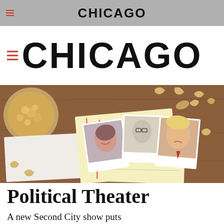CHICAGO
CHICAGO
[Figure (photo): Editorial photo showing a wooden table top with a coffee/beer mug, scattered cashews and almonds, notepad paper, and three Polaroid-style photographs of Hillary Clinton, an unidentified man in glasses, and Donald Trump.]
Political Theater
A new Second City show puts